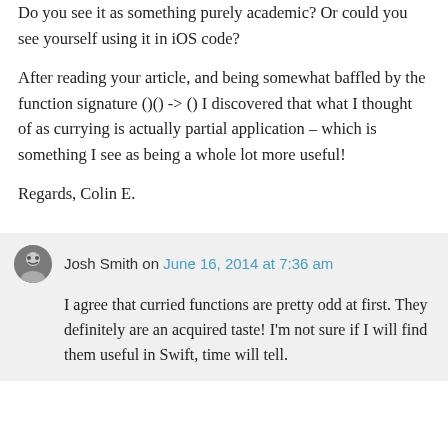Do you see it as something purely academic? Or could you see yourself using it in iOS code?
After reading your article, and being somewhat baffled by the function signature ()() -> () I discovered that what I thought of as currying is actually partial application – which is something I see as being a whole lot more useful!
Regards, Colin E.
Josh Smith on June 16, 2014 at 7:36 am
I agree that curried functions are pretty odd at first. They definitely are an acquired taste! I'm not sure if I will find them useful in Swift, time will tell.